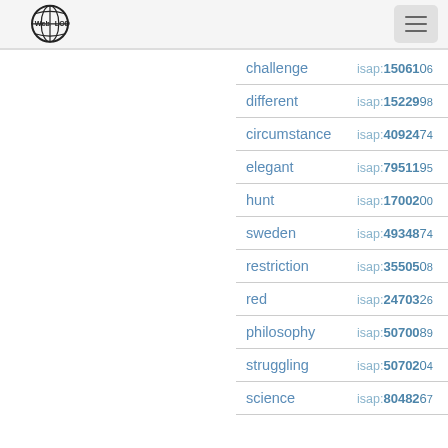[Figure (logo): Web isa LOD globe logo with text]
| word | isap id |
| --- | --- |
| challenge | isap:1506106... |
| different | isap:1522998... |
| circumstance | isap:4092474... |
| elegant | isap:7951195... |
| hunt | isap:1700200... |
| sweden | isap:4934874... |
| restriction | isap:3550508... |
| red | isap:2470326... |
| philosophy | isap:5070089... |
| struggling | isap:5070204... |
| science | isap:8048267... |